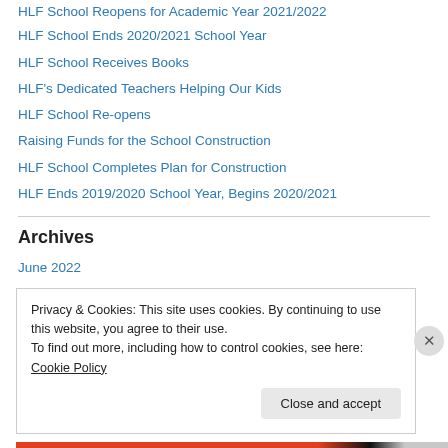HLF School Reopens for Academic Year 2021/2022
HLF School Ends 2020/2021 School Year
HLF School Receives Books
HLF's Dedicated Teachers Helping Our Kids
HLF School Re-opens
Raising Funds for the School Construction
HLF School Completes Plan for Construction
HLF Ends 2019/2020 School Year, Begins 2020/2021
Archives
June 2022
November 2021
Privacy & Cookies: This site uses cookies. By continuing to use this website, you agree to their use.
To find out more, including how to control cookies, see here: Cookie Policy